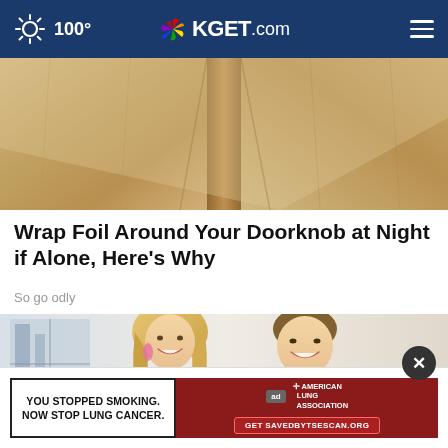100° KGET.com
[Figure (photo): Close-up photo of a wooden door showing panels and grooves in warm golden/brown tones]
Wrap Foil Around Your Doorknob at Night if Alone, Here's Why
Sogoodly
[Figure (photo): Couple dressed formally — a blonde woman in a light blue dress and a man in a black tuxedo with bow tie, smiling at the camera]
[Figure (infographic): Advertisement overlay: 'YOU STOPPED SMOKING. NOW STOP LUNG CANCER.' with American Lung Association branding and a call to action button 'Get SAVEDBYTSESCAN.ORG']